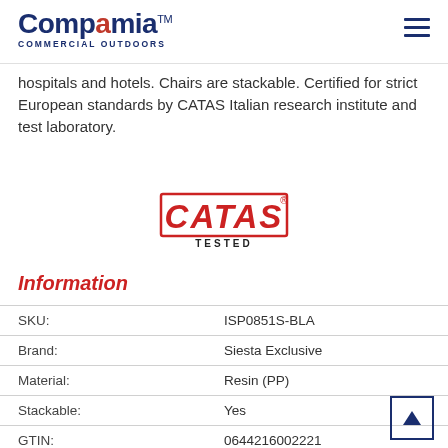Compamia™ COMMERCIAL OUTDOORS
hospitals and hotels. Chairs are stackable. Certified for strict European standards by CATAS Italian research institute and test laboratory.
[Figure (logo): CATAS TESTED logo — red italic bold text reading CATAS with a registered mark, and TESTED in black below]
Information
| SKU: | ISP0851S-BLA |
| Brand: | Siesta Exclusive |
| Material: | Resin (PP) |
| Stackable: | Yes |
| GTIN: | 0644216002221 |
| CATAS certified for strict European standards. |  |
| Chair: | 22.5"W x 22.5"D x 33"H |